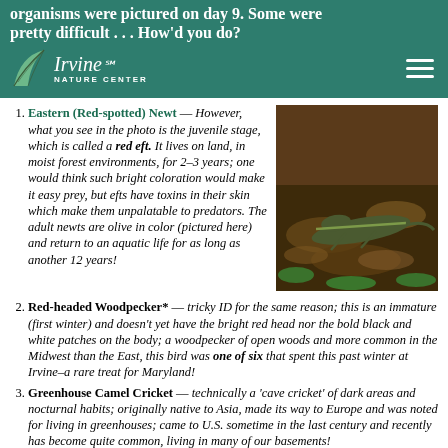organisms were pictured on day 9. Some were pretty difficult . . . How'd you do?
Eastern (Red-spotted) Newt — However, what you see in the photo is the juvenile stage, which is called a red eft. It lives on land, in moist forest environments, for 2–3 years; one would think such bright coloration would make it easy prey, but efts have toxins in their skin which make them unpalatable to predators. The adult newts are olive in color (pictured here) and return to an aquatic life for as long as another 12 years!
[Figure (photo): Photo of an adult Eastern Red-spotted Newt (olive colored) on leaf litter near water with aquatic plants]
Red-headed Woodpecker* — tricky ID for the same reason; this is an immature (first winter) and doesn't yet have the bright red head nor the bold black and white patches on the body; a woodpecker of open woods and more common in the Midwest than the East, this bird was one of six that spent this past winter at Irvine–a rare treat for Maryland!
Greenhouse Camel Cricket — technically a 'cave cricket' of dark areas and nocturnal habits; originally native to Asia, made its way to Europe and was noted for living in greenhouses; came to U.S. sometime in the last century and recently has become quite common, living in many of our basements!
Skunk Cabbage — low-growing plant of swampy areas; starts growing in very early spring–sometimes while still snow on the ground, when bizarre flower structures first push up; plants that radiate heat to melt surrounding snow and...